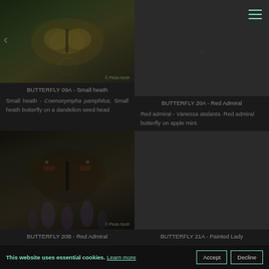[Figure (photo): Small heath butterfly photograph (Coenonympha pamphilus) on dandelion seed head, dark nature background]
BUTTERFLY 09A - Small heath
Small heath - Coenonympha pamphilus. Small heath butterfly on a dandelion seed head
[Figure (photo): Dark/placeholder image for Red Admiral butterfly]
BUTTERFLY 20A - Red Admiral
Red admiral - Vanessa atalanta. Red admiral butterfly on apple mint.
[Figure (photo): Red Admiral butterfly photograph, dark background with purple flowers]
BUTTERFLY 20B - Red Admiral
[Figure (photo): Dark/placeholder image for Painted Lady butterfly]
BUTTERFLY 21A - Painted Lady
This website uses essential cookies. Learn more
Accept
Decline